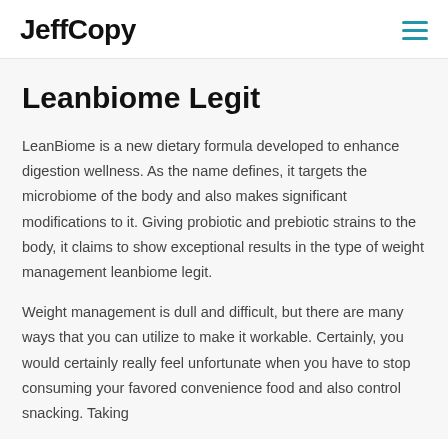JeffCopy
Leanbiome Legit
LeanBiome is a new dietary formula developed to enhance digestion wellness. As the name defines, it targets the microbiome of the body and also makes significant modifications to it. Giving probiotic and prebiotic strains to the body, it claims to show exceptional results in the type of weight management leanbiome legit.
Weight management is dull and difficult, but there are many ways that you can utilize to make it workable. Certainly, you would certainly really feel unfortunate when you have to stop consuming your favored convenience food and also control snacking. Taking